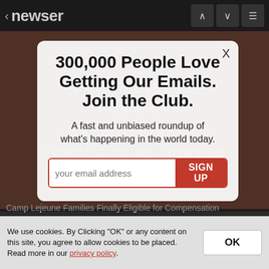< newser
[Figure (screenshot): Background photo of Camp Lejeune stone/brick wall with text 'CAMP LEJEUNE HOME OF EXPEDITIONARY FORCES IN READINESS']
300,000 People Love Getting Our Emails. Join the Club.
A fast and unbiased roundup of what's happening in the world today.
your email address  SIGN UP
Camp Lejeune Families Finally Eligible for Compensation
We use cookies. By Clicking "OK" or any content on this site, you agree to allow cookies to be placed. Read more in our privacy policy.
OK